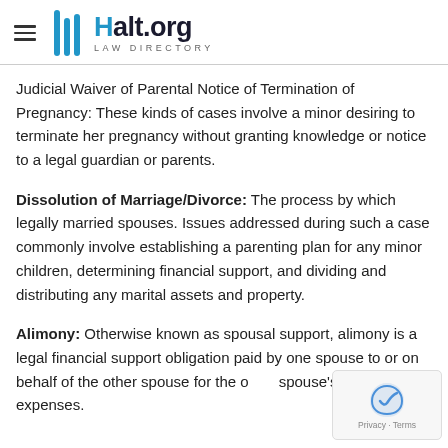Halt.org Law Directory
Judicial Waiver of Parental Notice of Termination of Pregnancy: These kinds of cases involve a minor desiring to terminate her pregnancy without granting knowledge or notice to a legal guardian or parents.
Dissolution of Marriage/Divorce: The process by which legally married spouses. Issues addressed during such a case commonly involve establishing a parenting plan for any minor children, determining financial support, and dividing and distributing any marital assets and property.
Alimony: Otherwise known as spousal support, alimony is a legal financial support obligation paid by one spouse to or on behalf of the other spouse for the other spouse's living expenses.